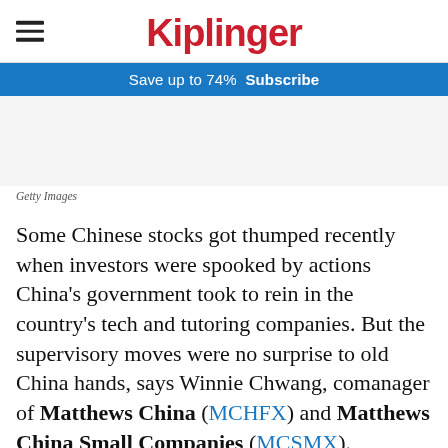Kiplinger
Save up to 74%  Subscribe
[Figure (photo): Image placeholder area (white/grey background, no photo visible)]
Getty Images
Some Chinese stocks got thumped recently when investors were spooked by actions China's government took to rein in the country's tech and tutoring companies. But the supervisory moves were no surprise to old China hands, says Winnie Chwang, comanager of Matthews China (MCHFX) and Matthews China Small Companies (MCSMX).